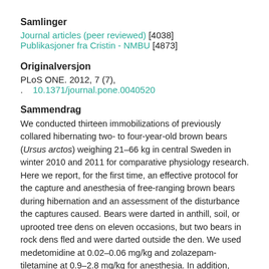Samlinger
Journal articles (peer reviewed) [4038]
Publikasjoner fra Cristin - NMBU [4873]
Originalversjon
PLoS ONE. 2012, 7 (7), .    10.1371/journal.pone.0040520
Sammendrag
We conducted thirteen immobilizations of previously collared hibernating two- to four-year-old brown bears (Ursus arctos) weighing 21–66 kg in central Sweden in winter 2010 and 2011 for comparative physiology research. Here we report, for the first time, an effective protocol for the capture and anesthesia of free-ranging brown bears during hibernation and an assessment of the disturbance the captures caused. Bears were darted in anthill, soil, or uprooted tree dens on eleven occasions, but two bears in rock dens fled and were darted outside the den. We used medetomidine at 0.02–0.06 mg/kg and zolazepam-tiletamine at 0.9–2.8 mg/kg for anesthesia. In addition, ketamine at 1.5 mg/kg was hand-injected intramuscularly in four bears and in six it was included in the dart at 1.1–3.0 mg/kg. Once anesthetized, bears were removed from the